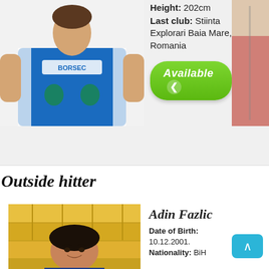[Figure (photo): Volleyball player in blue jersey with Borsec sponsor]
Height: 202cm
Last club: Stiinta Explorari Baia Mare, Romania
Available
[Figure (photo): Partial photo of another player on right side]
Outside hitter
[Figure (photo): Adin Fazlic headshot in front of yellow stadium seats]
Adin Fazlic
Date of Birth: 10.12.2001.
Nationality: BiH